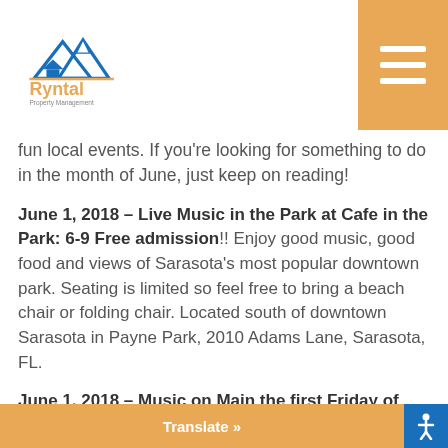Ryntal Property Management
fun local events. If you're looking for something to do in the month of June, just keep on reading!
June 1, 2018 – Live Music in the Park at Cafe in the Park: 6-9 Free admission!! Enjoy good music, good food and views of Sarasota's most popular downtown park. Seating is limited so feel free to bring a beach chair or folding chair. Located south of downtown Sarasota in Payne Park, 2010 Adams Lane, Sarasota, FL.
June 1, 2018 – Music on Main the first Friday of each month: 6p.m – 9 pm Beer, wine and food available. Bring your chairs, but no coolers allowed. Dogs are welcome but must be friendly and kept on a short leash. Overflow parking is available at the Lakewood Ranch Medical Center, Lakewood Ranc…